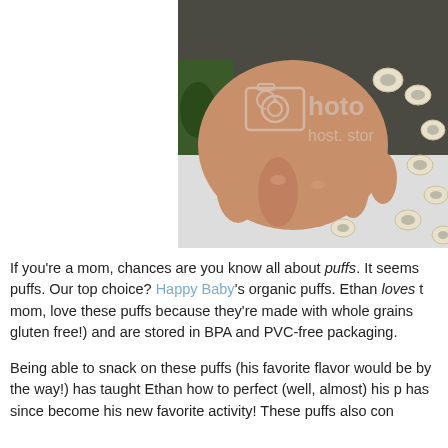[Figure (photo): Close-up photo of a baby's hands reaching for ring-shaped puffs snacks on a white surface. The image has a stock photo watermark overlay showing a camera icon and 'photo' and 'host.stor' text.]
If you're a mom, chances are you know all about puffs. It seems puffs. Our top choice? Happy Baby's organic puffs. Ethan loves t mom, love these puffs because they're made with whole grains gluten free!) and are stored in BPA and PVC-free packaging.
Being able to snack on these puffs (his favorite flavor would be by the way!) has taught Ethan how to perfect (well, almost) his p has since become his new favorite activity! These puffs also con